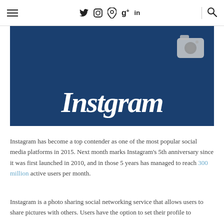≡  ✦ ⊡ ⊕ g+ in  🔍
[Figure (illustration): Instagram logo — dark navy blue background with stylized white cursive 'Instgram' text and a camera icon in the top right corner]
Instagram has become a top contender as one of the most popular social media platforms in 2015. Next month marks Instagram's 5th anniversary since it was first launched in 2010, and in those 5 years has managed to reach 300 million active users per month.
Instagram is a photo sharing social networking service that allows users to share pictures with others. Users have the option to set their profile to